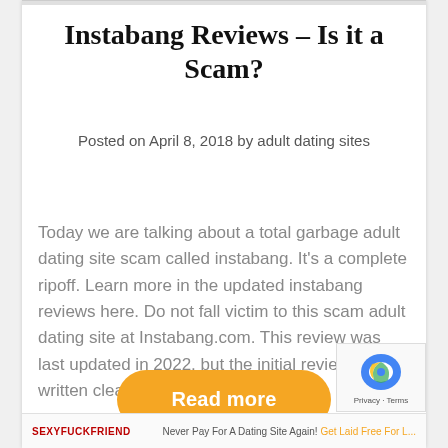Instabang Reviews – Is it a Scam?
Posted on April 8, 2018 by adult dating sites
Today we are talking about a total garbage adult dating site scam called instabang. It's a complete ripoff. Learn more in the updated instabang reviews here. Do not fall victim to this scam adult dating site at Instabang.com. This review was last updated in 2022, but the initial review was written clear back in 2014....
[Figure (other): Orange rounded rectangle button with white text 'Read more']
SEXYFUCKFRIEND   Never Pay For A Dating Site Again! Get Laid Free For L...